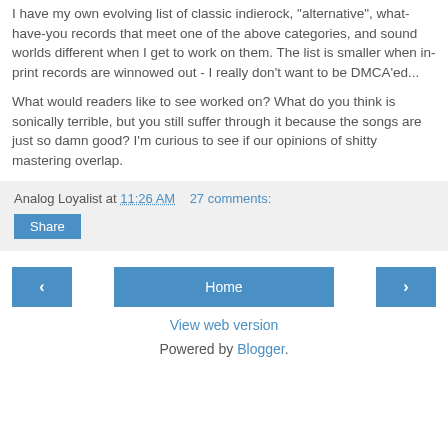I have my own evolving list of classic indierock, "alternative", what-have-you records that meet one of the above categories, and sound worlds different when I get to work on them.  The list is smaller when in-print records are winnowed out - I really don't want to be DMCA'ed...
What would readers like to see worked on?  What do you think is sonically terrible, but you still suffer through it because the songs are just so damn good?  I'm curious to see if our opinions of shitty mastering overlap.
Analog Loyalist at 11:26 AM    27 comments:
Share
‹
Home
›
View web version
Powered by Blogger.